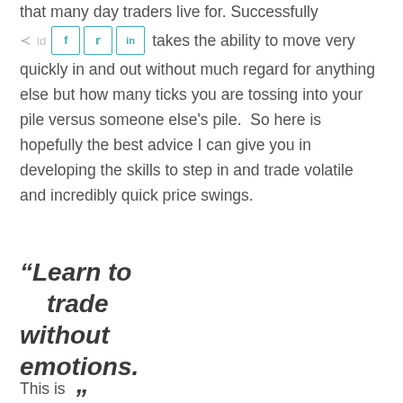that many day traders live for. Successfully [share buttons] takes the ability to move very quickly in and out without much regard for anything else but how many ticks you are tossing into your pile versus someone else's pile.  So here is hopefully the best advice I can give you in developing the skills to step in and trade volatile and incredibly quick price swings.
“Learn to trade without emotions.”
This is